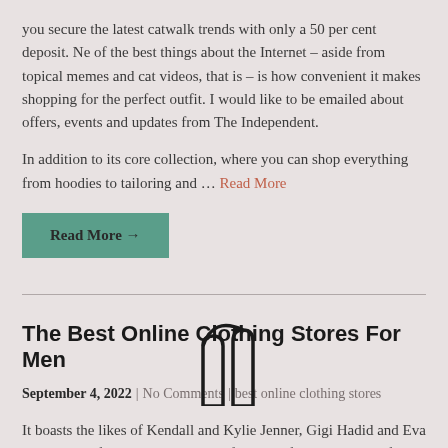you secure the latest catwalk trends with only a 50 per cent deposit. Ne of the best things about the Internet – aside from topical memes and cat videos, that is – is how convenient it makes shopping for the perfect outfit. I would like to be emailed about offers, events and updates from The Independent.
In addition to its core collection, where you can shop everything from hoodies to tailoring and … Read More
Read More →
The Best Online Clothing Stores For Men
September 4, 2022 | No Comments | best online clothing stores
It boasts the likes of Kendall and Kylie Jenner, Gigi Hadid and Eva Longoria as fans, so you'll be in safe hands if you're looking for something a little glam. To help you on your hunt for a brand-new look, we've rounded up hundreds of online clothes shops to give you the ultimate catalogue of our fashion favourites. From relaxed weekend attire to chic everyday wear, Marks & Spencer